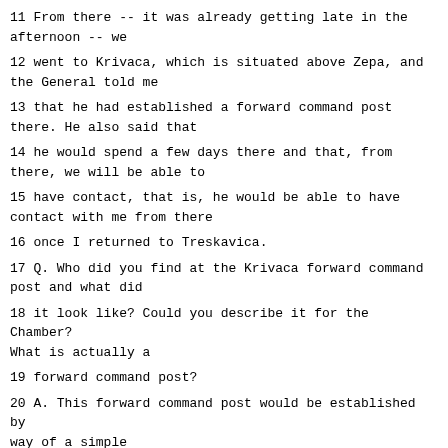11 From there -- it was already getting late in the afternoon -- we
12 went to Krivaca, which is situated above Zepa, and the General told me
13 that he had established a forward command post there. He also said that
14 he would spend a few days there and that, from there, we will be able to
15 have contact, that is, he would be able to have contact with me from there
16 once I returned to Treskavica.
17 Q. Who did you find at the Krivaca forward command post and what did
18 it look like? Could you describe it for the Chamber? What is actually a
19 forward command post?
20 A. This forward command post would be established by way of a simple
21 tent, and this is what I saw there. We had a cook there. I forgot the